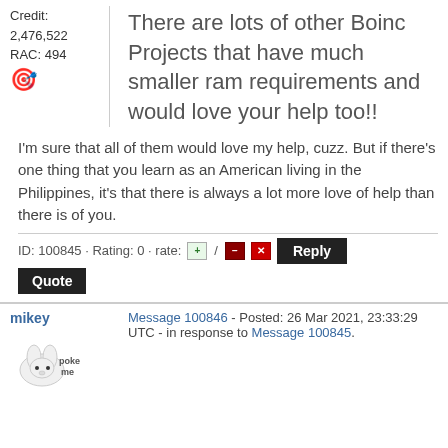Credit: 2,476,522
RAC: 494
There are lots of other Boinc Projects that have much smaller ram requirements and would love your help too!!
I'm sure that all of them would love my help, cuzz. But if there's one thing that you learn as an American living in the Philippines, it's that there is always a lot more love of help than there is of you.
ID: 100845 · Rating: 0 · rate: / Reply
Quote
mikey
Message 100846 - Posted: 26 Mar 2021, 23:33:29 UTC - in response to Message 100845.